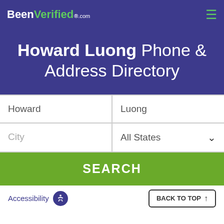BeenVerified.com
Howard Luong Phone & Address Directory
[Figure (screenshot): Search form with fields: First Name (Howard), Last Name (Luong), City, All States dropdown, and SEARCH button]
Accessibility | BACK TO TOP